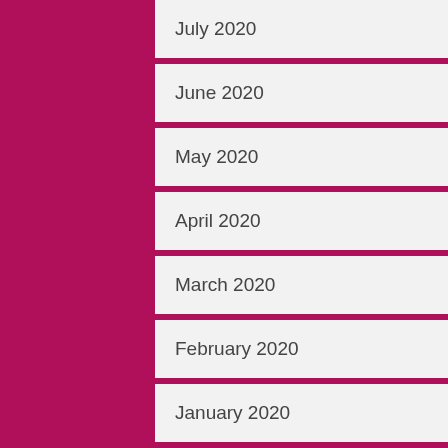| July 2020 | November 2015 |
| June 2020 | October 2015 |
| May 2020 | September 2015 |
| April 2020 | August 2015 |
| March 2020 | July 2015 |
| February 2020 | June 2015 |
| January 2020 | May 2015 |
| December 2019 | April 2015 |
| November 2019 | March 2015 |
| October 2019 | February 2015 |
| September 2019 | January 2015 |
| August 2019 | December 2014 |